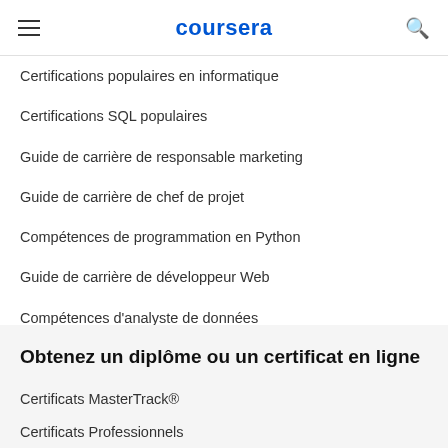coursera
Certifications populaires en informatique
Certifications SQL populaires
Guide de carrière de responsable marketing
Guide de carrière de chef de projet
Compétences de programmation en Python
Guide de carrière de développeur Web
Compétences d'analyste de données
Compétences pour un concepteur UX
Obtenez un diplôme ou un certificat en ligne
Certificats MasterTrack®
Certificats Professionnels